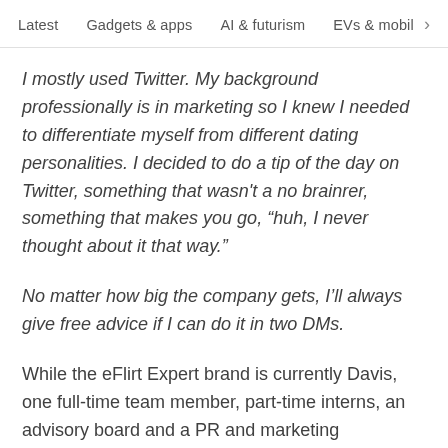Latest   Gadgets & apps   AI & futurism   EVs & mobil >
I mostly used Twitter. My background professionally is in marketing so I knew I needed to differentiate myself from different dating personalities. I decided to do a tip of the day on Twitter, something that wasn't a no brainrer, something that makes you go, “huh, I never thought about it that way.”
No matter how big the company gets, I’ll always give free advice if I can do it in two DMs.
While the eFlirt Expert brand is currently Davis, one full-time team member, part-time interns, an advisory board and a PR and marketing consultant, she’ll be hiring certified e-Flirters around the country in the near future. This is what she says about that...